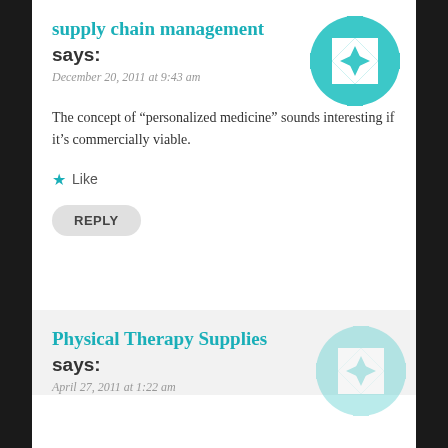supply chain management says:
December 20, 2011 at 9:43 am
The concept of “personalized medicine” sounds interesting if it’s commercially viable.
Like
REPLY
Physical Therapy Supplies says:
April 27, 2011 at 1:22 am